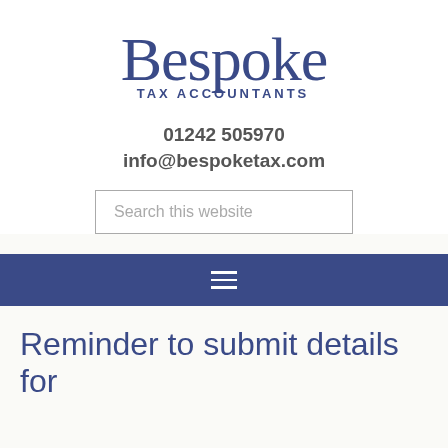[Figure (logo): Bespoke Tax Accountants logo — large serif 'Bespoke' text above smaller caps 'TAX ACCOUNTANTS' tagline, both in dark navy blue]
01242 505970
info@bespoketax.com
Search this website
[Figure (other): Dark navy blue navigation bar with hamburger menu icon (three horizontal white lines)]
Reminder to submit details for